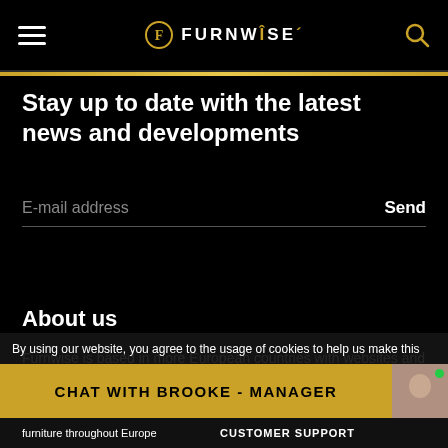FURNWISE
Stay up to date with the latest news and developments
E-mail address    Send
About us
Furnwise is based in more European countries with websites and warehouses. With our more to the fastest and kinds and suppliers as this furniture throughout Europe
By using our website, you agree to the usage of cookies to help us make this
CHAT WITH BROOKE - MANAGER
furniture throughout Europe
CUSTOMER SUPPORT